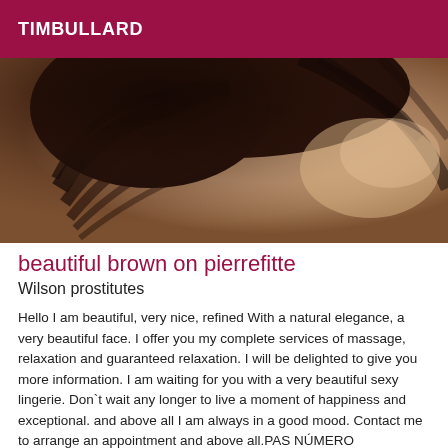TIMBULLARD
[Figure (photo): Close-up photo of a person with long dark hair, showing the back/side of the head with dark hair blowing, warm skin tones visible]
beautiful brown on pierrefitte
Wilson prostitutes
Hello I am beautiful, very nice, refined With a natural elegance, a very beautiful face. I offer you my complete services of massage, relaxation and guaranteed relaxation. I will be delighted to give you more information. I am waiting for you with a very beautiful sexy lingerie. Don`t wait any longer to live a moment of happiness and exceptional. and above all I am always in a good mood. Contact me to arrange an appointment and above all.PAS NÚMERO PRÍVE.THANK YOU BISOUS